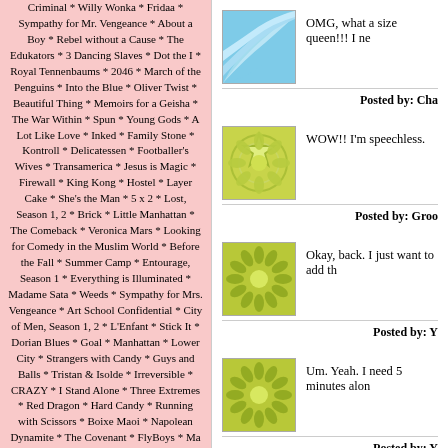Criminal * Willy Wonka * Fridaa * Sympathy for Mr. Vengeance * About a Boy * Rebel without a Cause * The Edukators * 3 Dancing Slaves * Dot the I * Royal Tennenbaums * 2046 * March of the Penguins * Into the Blue * Oliver Twist * Beautiful Thing * Memoirs for a Geisha * The War Within * Spun * Young Gods * A Lot Like Love * Inked * Family Stone * Kontroll * Delicatessen * Footballer's Wives * Transamerica * Jesus is Magic * Firewall * King Kong * Hostel * Layer Cake * She's the Man * 5 x 2 * Lost, Season 1, 2 * Brick * Little Manhattan * The Comeback * Veronica Mars * Looking for Comedy in the Muslim World * Before the Fall * Summer Camp * Entourage, Season 1 * Everything is Illuminated * Madame Sata * Weeds * Sympathy for Mrs. Vengeance * Art School Confidential * City of Men, Season 1, 2 * L'Enfant * Stick It * Dorian Blues * Goal * Manhattan * Lower City * Strangers with Candy * Guys and Balls * Tristan & Isolde * Irreversible * CRAZY * I Stand Alone * Three Extremes * Red Dragon * Hard Candy * Running with Scissors * Boixe Maoi * Napolean Dynamite * The Covenant * FlyBoys * Ma Mere * Naked * Sin City * Hukkle *
OMG, what a size queen!!! I ne
Posted by: Cha
WOW!! I'm speechless.
Posted by: Groo
Okay, back. I just want to add th
Posted by: Y
Um. Yeah. I need 5 minutes alon
Posted by: Y
The comments to this entry are closed.